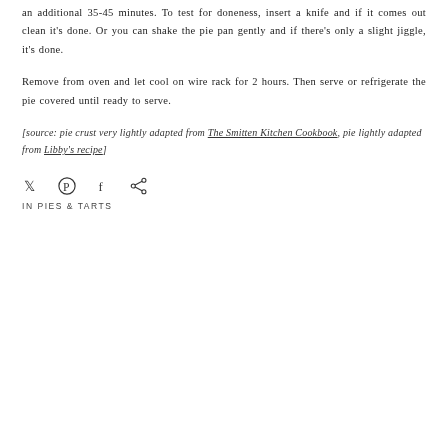an additional 35-45 minutes. To test for doneness, insert a knife and if it comes out clean it's done. Or you can shake the pie pan gently and if there's only a slight jiggle, it's done.
Remove from oven and let cool on wire rack for 2 hours. Then serve or refrigerate the pie covered until ready to serve.
[source: pie crust very lightly adapted from The Smitten Kitchen Cookbook, pie lightly adapted from Libby's recipe]
[Figure (other): Social sharing icons: Twitter, Pinterest, Facebook, share]
IN PIES & TARTS